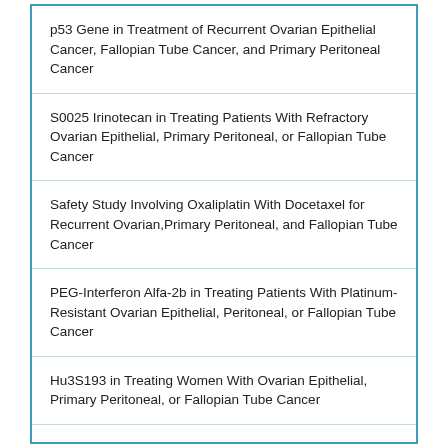p53 Gene in Treatment of Recurrent Ovarian Epithelial Cancer, Fallopian Tube Cancer, and Primary Peritoneal Cancer
S0025 Irinotecan in Treating Patients With Refractory Ovarian Epithelial, Primary Peritoneal, or Fallopian Tube Cancer
Safety Study Involving Oxaliplatin With Docetaxel for Recurrent Ovarian,Primary Peritoneal, and Fallopian Tube Cancer
PEG-Interferon Alfa-2b in Treating Patients With Platinum-Resistant Ovarian Epithelial, Peritoneal, or Fallopian Tube Cancer
Hu3S193 in Treating Women With Ovarian Epithelial, Primary Peritoneal, or Fallopian Tube Cancer
CP-547,632 in Treating Patients With Recurrent or Persistent Ovarian Cancer, Primary Peritoneal Cancer, or Fallopian Tube Cancer